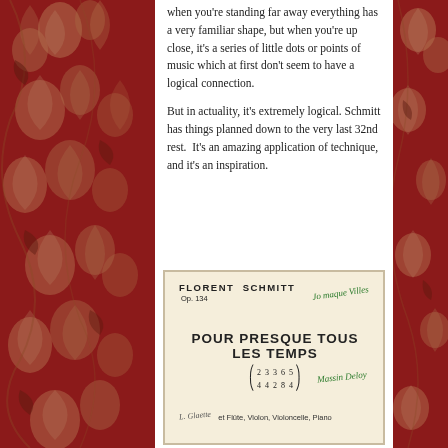[Figure (illustration): Decorative red floral Art Nouveau border on left and right sides of the page]
when you're standing far away everything has a very familiar shape, but when you're up close, it's a series of little dots or points of music which at first don't seem to have a logical connection.
But in actuality, it's extremely logical. Schmitt has things planned down to the very last 32nd rest.  It's an amazing application of technique, and it's an inspiration.
[Figure (photo): Score cover page of Florent Schmitt's Op. 134, 'Pour Presque Tous Les Temps', with time signatures (2/4, 3/4, 3/2, 6/8, 5/4) and instrumentation: et Flûte, Violon, Violoncelle, Piano. Green handwritten dedications/signatures visible.]